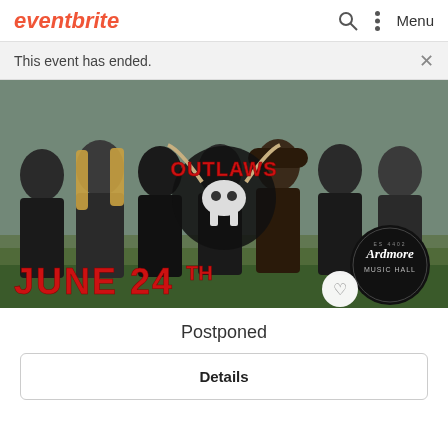eventbrite
This event has ended.
[Figure (photo): Promotional photo for The Outlaws band at Ardmore Music Hall on June 24th. Seven band members in black t-shirts standing in front of a weathered wall with the Outlaws logo (red text with bull skull) overlaid. Text reads JUNE 24TH in large red letters bottom left, and Ardmore Music Hall circular badge bottom right.]
Postponed
Details